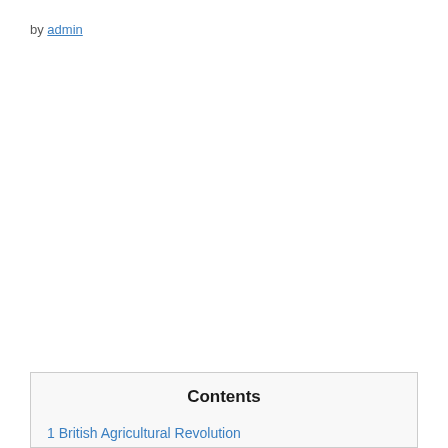by admin
Contents
1 British Agricultural Revolution